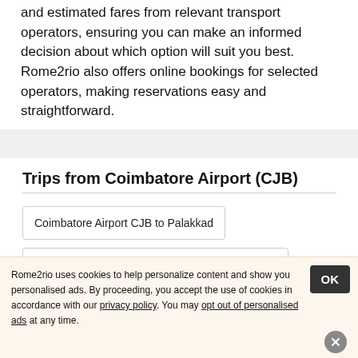and estimated fares from relevant transport operators, ensuring you can make an informed decision about which option will suit you best. Rome2rio also offers online bookings for selected operators, making reservations easy and straightforward.
Trips from Coimbatore Airport (CJB)
Coimbatore Airport CJB to Palakkad
Coimbatore Airport CJB to Sterling Ooty Fern Hill
Rome2rio uses cookies to help personalize content and show you personalised ads. By proceeding, you accept the use of cookies in accordance with our privacy policy. You may opt out of personalised ads at any time.